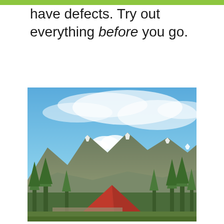have defects. Try out everything before you go.
[Figure (photo): A red pyramid-shaped tent in the foreground with tall green trees, mountain range with snow-capped peaks in the background, and a blue sky with white clouds above.]